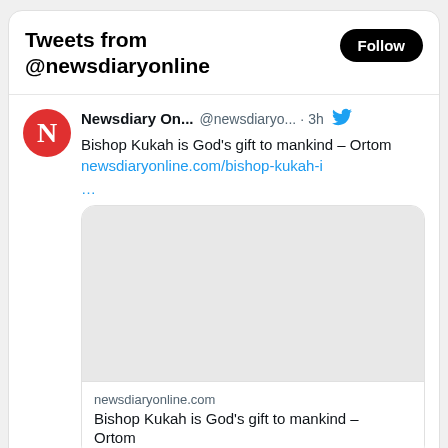Tweets from @newsdiaryonline
Newsdiary On... @newsdiaryо... · 3h
Bishop Kukah is God's gift to mankind – Ortom newsdiaryonline.com/bishop-kukah-i ...
[Figure (screenshot): Empty grey image card placeholder for linked article]
newsdiaryonline.com
Bishop Kukah is God's gift to mankind – Ortom